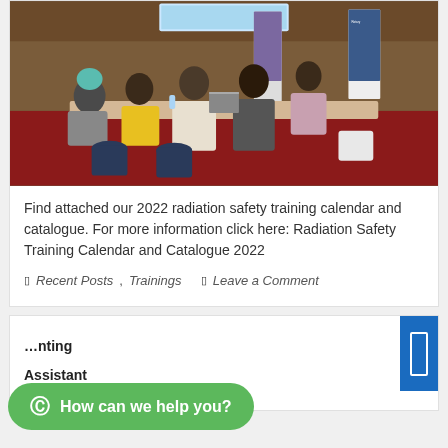[Figure (photo): Training session in a conference room with participants seated at tables working on laptops, red carpet floor, banner/display stands visible in background.]
Find attached our 2022 radiation safety training calendar and catalogue. For more information click here: Radiation Safety Training Calendar and Catalogue 2022
Recent Posts, Trainings  Leave a Comment
Accounting Assistant